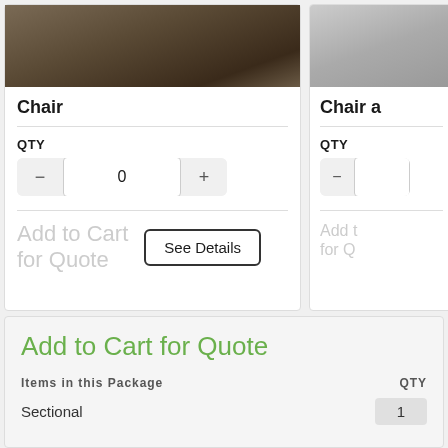[Figure (photo): Product photo of a chair in a living room setting with hardwood floor and animal skin rug]
Chair
QTY
0
Add to Cart for Quote
See Details
[Figure (photo): Partial product photo of Chair and (something), cropped on the right side]
Chair a
QTY
Add t for Q
Add to Cart for Quote
Items in this Package
QTY
Sectional
1